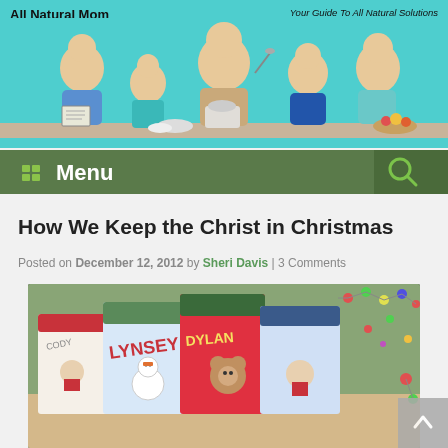All Natural Mom | Your Guide To All Natural Solutions
[Figure (illustration): Cartoon illustration of a mother and four children at a kitchen counter with baking equipment, on a teal background]
[Figure (infographic): Green navigation menu bar with grid/menu icon and 'Menu' text, and a search icon on the right]
How We Keep the Christ in Christmas
Posted on December 12, 2012 by Sheri Davis | 3 Comments
[Figure (photo): Photo of personalized Christmas stockings with names including Cody, Lynsey, Dylan, and others, decorated with Santa, snowman, and bear designs, with Christmas lights in background]